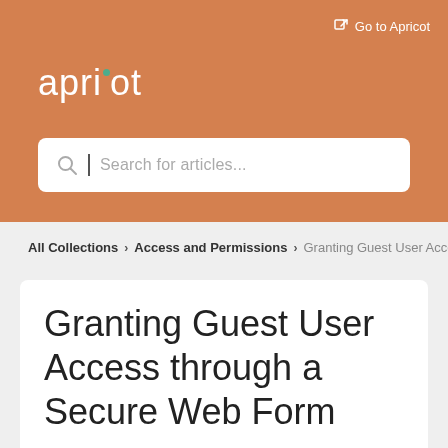Go to Apricot
apricot
Search for articles...
All Collections > Access and Permissions > Granting Guest User Access through a Secure Web Form
Granting Guest User Access through a Secure Web Form